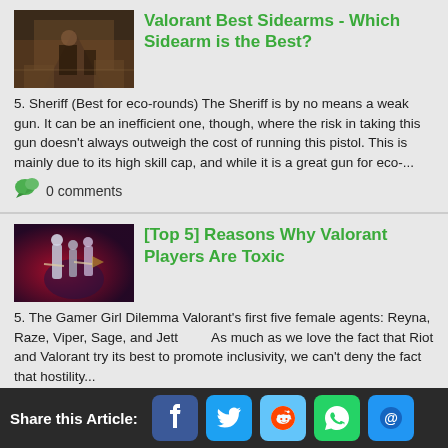[Figure (screenshot): Thumbnail image of a Valorant game scene with characters in urban setting]
Valorant Best Sidearms - Which Sidearm is the Best?
5. Sheriff (Best for eco-rounds) The Sheriff is by no means a weak gun. It can be an inefficient one, though, where the risk in taking this gun doesn't always outweigh the cost of running this pistol. This is mainly due to its high skill cap, and while it is a great gun for eco-...
0 comments
[Figure (screenshot): Thumbnail image of Valorant characters/agents lineup]
[Top 5] Reasons Why Valorant Players Are Toxic
5. The Gamer Girl Dilemma Valorant's first five female agents: Reyna, Raze, Viper, Sage, and Jett        As much as we love the fact that Riot and Valorant try its best to promote inclusivity, we can't deny the fact that hostility...
Share this Article: